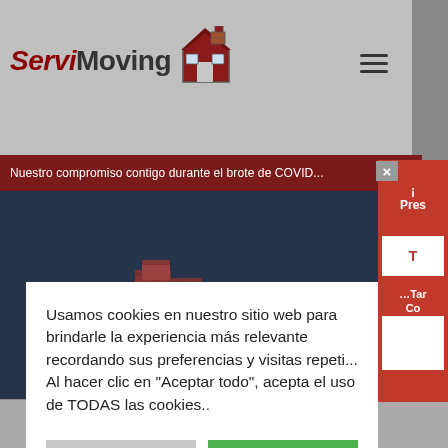[Figure (screenshot): ServiMoving website screenshot showing logo with house icon, hamburger menu, dark red banner about COVID, dark background section with moving boxes, and a red side panel with 'Pres', 'T', '...Tar Co' text and white elements]
Nuestro compromiso contigo durante el brote de COVID...
Usamos cookies en nuestro sitio web para brindarle la experiencia más relevante recordando sus preferencias y visitas repetidas. Al hacer clic en "Aceptar todo", acepta el uso de TODAS las cookies..
Ajustes de las cookies
Aceptar todas